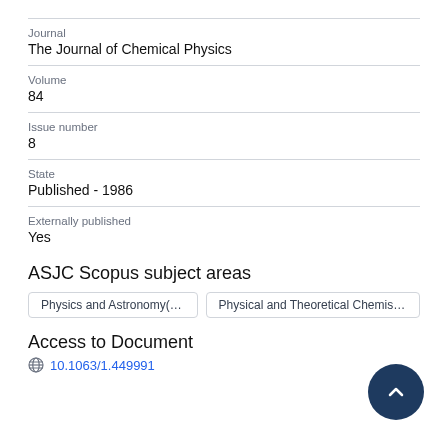Journal
The Journal of Chemical Physics
Volume
84
Issue number
8
State
Published - 1986
Externally published
Yes
ASJC Scopus subject areas
Physics and Astronomy(all)
Physical and Theoretical Chemi…
Access to Document
10.1063/1.449991